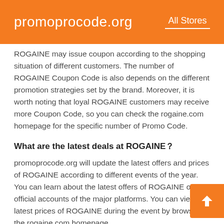promoprocode.org   All Stores
ROGAINE may issue coupon according to the shopping situation of different customers. The number of ROGAINE Coupon Code is also depends on the different promotion strategies set by the brand. Moreover, it is worth noting that loyal ROGAINE customers may receive more Coupon Code, so you can check the rogaine.com homepage for the specific number of Promo Code.
What are the latest deals at ROGAINE?
promoprocode.org will update the latest offers and prices of ROGAINE according to different events of the year. You can learn about the latest offers of ROGAINE on the official accounts of the major platforms. You can view the latest prices of ROGAINE during the event by browsing the rogaine.com homepage.